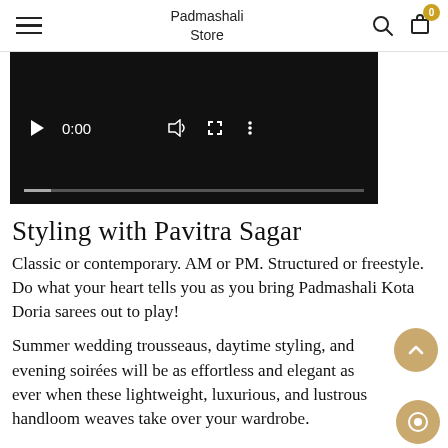Padmashali Store
[Figure (screenshot): Video player showing 0:00 timestamp with play button, volume, fullscreen, and menu icons on a black background]
Styling with Pavitra Sagar
Classic or contemporary. AM or PM. Structured or freestyle. Do what your heart tells you as you bring Padmashali Kota Doria sarees out to play!
Summer wedding trousseaus, daytime styling, and evening soirées will be as effortless and elegant as ever when these lightweight, luxurious, and lustrous handloom weaves take over your wardrobe.